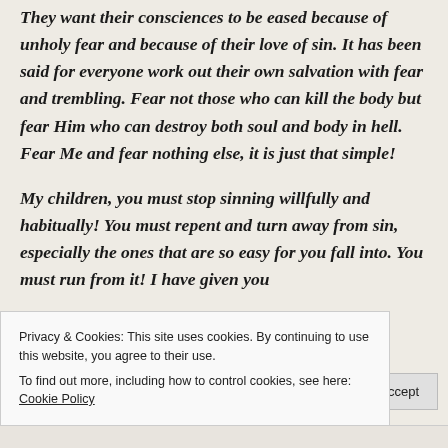They want their consciences to be eased because of unholy fear and because of their love of sin. It has been said for everyone work out their own salvation with fear and trembling. Fear not those who can kill the body but fear Him who can destroy both soul and body in hell. Fear Me and fear nothing else, it is just that simple!
My children, you must stop sinning willfully and habitually! You must repent and turn away from sin, especially the ones that are so easy for you fall into. You must run from it! I have given you
Privacy & Cookies: This site uses cookies. By continuing to use this website, you agree to their use.
To find out more, including how to control cookies, see here: Cookie Policy